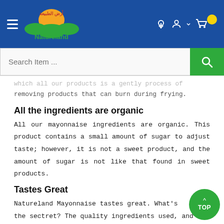[Figure (logo): Natureland logo with Arabic text and orange sun/grass graphic on blue navigation bar with hamburger menu, location icon, user icon, and shopping cart with yellow circle]
[Figure (screenshot): Search bar with placeholder text 'Search Item ...' and green search button with magnifying glass icon]
...which all our products is a gently process of removing products that can burn during frying.
All the ingredients are organic
All our mayonnaise ingredients are organic. This product contains a small amount of sugar to adjust taste; however, it is not a sweet product, and the amount of sugar is not like that found in sweet products.
Tastes Great
Natureland Mayonnaise tastes great. What's the sectret? The quality ingredients used, and a